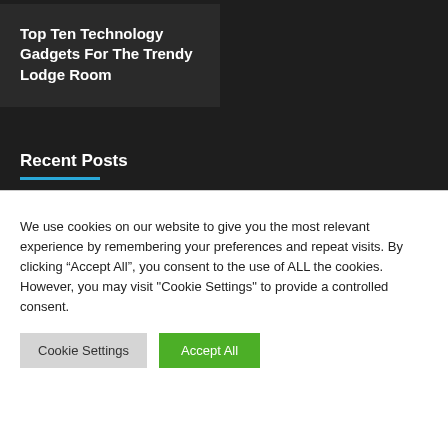Top Ten Technology Gadgets For The Trendy Lodge Room
Recent Posts
We use cookies on our website to give you the most relevant experience by remembering your preferences and repeat visits. By clicking “Accept All”, you consent to the use of ALL the cookies. However, you may visit "Cookie Settings" to provide a controlled consent.